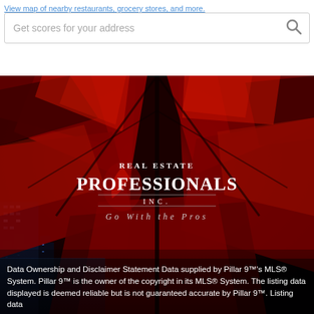View map of nearby restaurants, grocery stores, and more.
Get scores for your address
[Figure (photo): Red metallic sculpture (likely Wonderland / Bear sculpture) photographed from below against dark sky with city buildings in background. Real Estate Professionals Inc. logo overlaid in center with tagline 'Go With the Pros'.]
Data Ownership and Disclaimer Statement Data supplied by Pillar 9™'s MLS® System. Pillar 9™ is the owner of the copyright in its MLS® System. The listing data displayed is deemed reliable but is not guaranteed accurate by Pillar 9™. Listing data